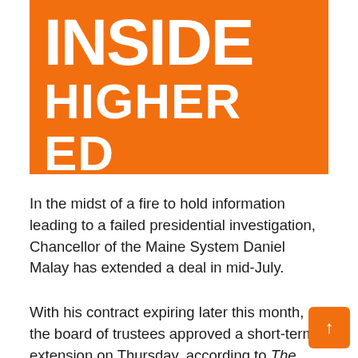[Figure (logo): Inside Higher Ed logo — orange rectangle with white bold text reading INSIDE HIGHER ED]
In the midst of a fire to hold information leading to a failed presidential investigation, Chancellor of the Maine System Daniel Malay has extended a deal in mid-July.
With his contract expiring later this month, the board of trustees approved a short-term extension on Thursday, according to The Kenebeck Journal. The